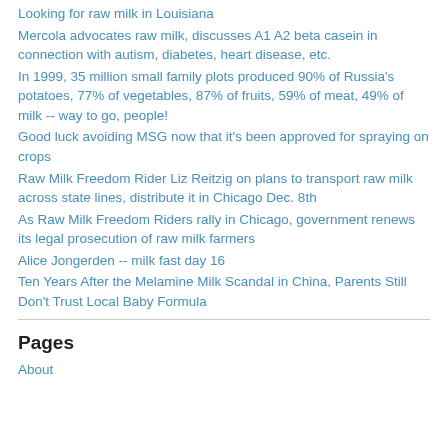Looking for raw milk in Louisiana
Mercola advocates raw milk, discusses A1 A2 beta casein in connection with autism, diabetes, heart disease, etc.
In 1999, 35 million small family plots produced 90% of Russia's potatoes, 77% of vegetables, 87% of fruits, 59% of meat, 49% of milk -- way to go, people!
Good luck avoiding MSG now that it's been approved for spraying on crops
Raw Milk Freedom Rider Liz Reitzig on plans to transport raw milk across state lines, distribute it in Chicago Dec. 8th
As Raw Milk Freedom Riders rally in Chicago, government renews its legal prosecution of raw milk farmers
Alice Jongerden -- milk fast day 16
Ten Years After the Melamine Milk Scandal in China, Parents Still Don't Trust Local Baby Formula
Pages
About